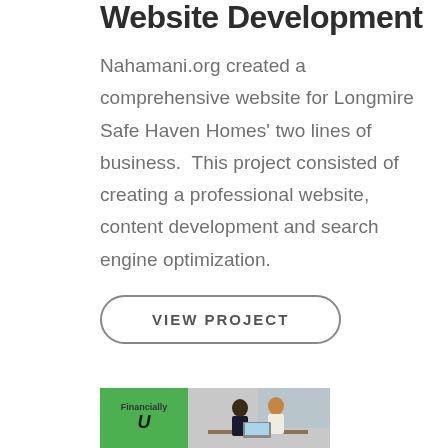Website Development
Nahamani.org created a comprehensive website for Longmire Safe Haven Homes' two lines of business.  This project consisted of creating a professional website, content development and search engine optimization.
VIEW PROJECT
[Figure (photo): Composite image: green panel with FinanciallU logo on left, photo of two business professionals (man and woman) looking at a laptop on right]